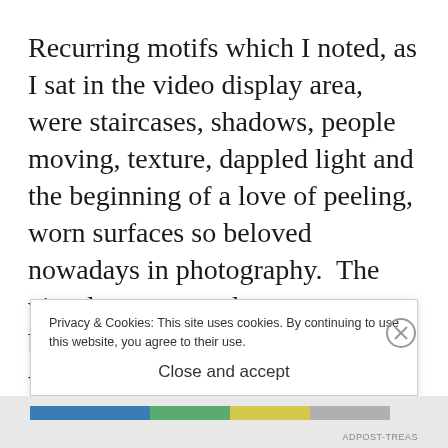Recurring motifs which I noted, as I sat in the video display area, were staircases, shadows, people moving, texture, dappled light and the beginning of a love of peeling, worn surfaces so beloved nowadays in photography.  The visuals transported you b... w...
Privacy & Cookies: This site uses cookies. By continuing to use this website, you agree to their use.
To find out more, including how to control cookies, see here: Cookie Policy
Close and accept